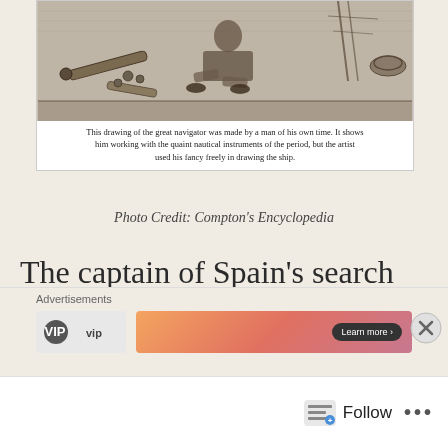[Figure (illustration): Engraving of a great navigator (Magellan) working with nautical instruments of the period, with a ship in the background. Caption reads: 'This drawing of the great navigator was made by a man of his own time. It shows him working with the quaint nautical instruments of the period, but the artist used his fancy freely in drawing the ship.']
Photo Credit: Compton's Encyclopedia
The captain of Spain's search was a Portuguese who had taken up the flag of Castile and the Spanish name Hernando de Magallanes. To the English-speaking world, he is Ferdinand Magellan, the son of a